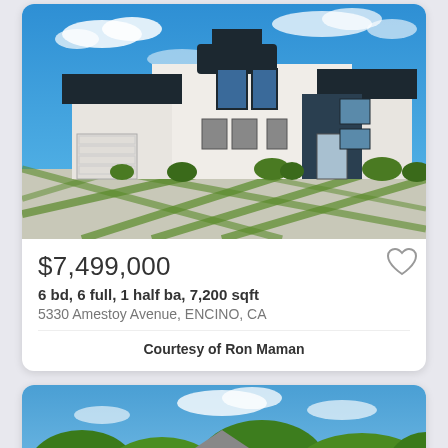[Figure (photo): Exterior photo of a modern two-story white and dark-trimmed house with a concrete and grass driveway under a blue sky]
$7,499,000
6 bd, 6 full, 1 half ba, 7,200 sqft
5330 Amestoy Avenue, ENCINO, CA
Courtesy of Ron Maman
[Figure (photo): Exterior photo of a house partially obscured by green trees under a blue sky]